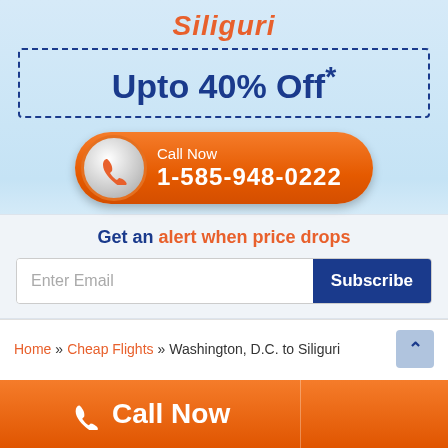Siliguri
Upto 40% Off*
[Figure (infographic): Orange rounded call-to-action button with phone icon and text: Call Now 1-585-948-0222]
Get an alert when price drops
Enter Email
Subscribe
Home » Cheap Flights » Washington, D.C. to Siliguri
Trustpilot
Call Now